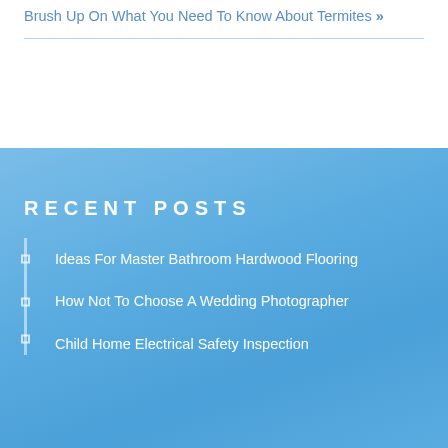Brush Up On What You Need To Know About Termites »
RECENT POSTS
Ideas For Master Bathroom Hardwood Flooring
How Not To Choose A Wedding Photographer
Child Home Electrical Safety Inspection